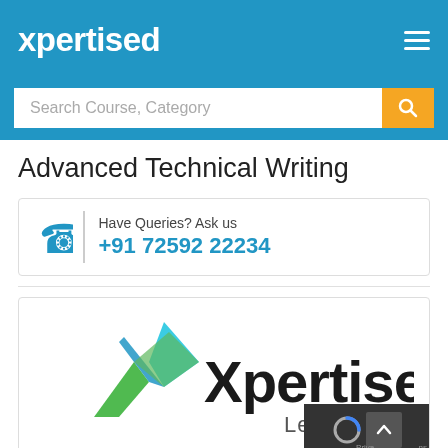xpertised
Search Course, Category
Advanced Technical Writing
Have Queries? Ask us
+91 72592 22234
[Figure (logo): Xpertised Learning logo with stylized X mark in blue and green, bold black text 'Xpertised' and grey 'Learning']